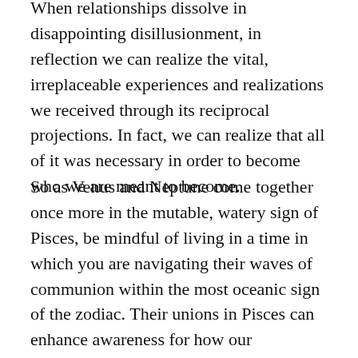When relationships dissolve in disappointing disillusionment, in reflection we can realize the vital, irreplaceable experiences and realizations we received through its reciprocal projections. In fact, we can realize that all of it was necessary in order to become who we are meant to become.
So as Venus and Neptune come together once more in the mutable, watery sign of Pisces, be mindful of living in a time in which you are navigating their waves of communion within the most oceanic sign of the zodiac. Their unions in Pisces can enhance awareness for how our projections are disconnecting us from reality, can lead us to love based upon resonant bonds of connectivity, and can